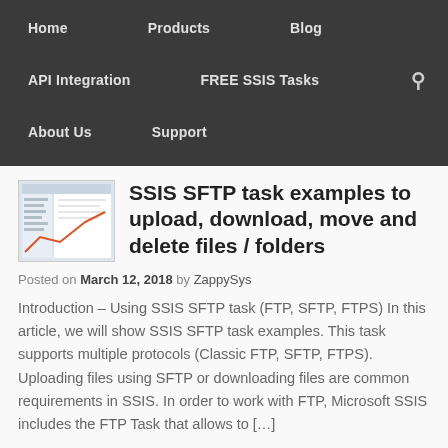Home   Products   Blog   API Integration   FREE SSIS Tasks   About Us   Support
SSIS SFTP task examples to upload, download, move and delete files / folders
Posted on March 12, 2018 by ZappySys
Introduction – Using SSIS SFTP task (FTP, SFTP, FTPS) In this article, we will show SSIS SFTP task examples. This task supports multiple protocols (Classic FTP, SFTP, FTPS). Uploading files using SFTP or downloading files are common requirements in SSIS. In order to work with FTP, Microsoft SSIS includes the FTP Task that allows to […]